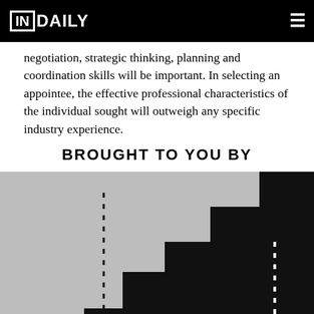IN DAILY
negotiation, strategic thinking, planning and coordination skills will be important. In selecting an appointee, the effective professional characteristics of the individual sought will outweigh any specific industry experience.
BROUGHT TO YOU BY
[Figure (illustration): Black staircase-step graphic ascending from lower left to upper right with dotted vertical lines on gray background, partially cropped at bottom of page.]